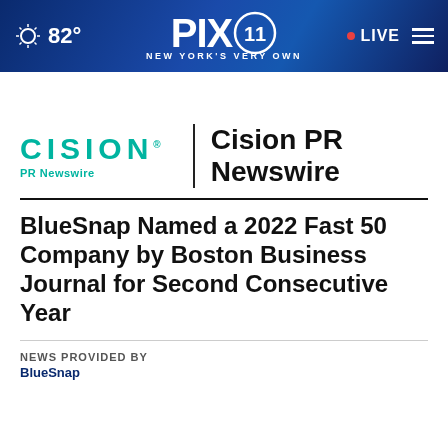PIX 11 — NEW YORK'S VERY OWN | 82° | LIVE
[Figure (logo): Cision PR Newswire logo with teal CISION text and black PR Newswire subtitle, separated by vertical divider from bold 'Cision PR Newswire' text]
BlueSnap Named a 2022 Fast 50 Company by Boston Business Journal for Second Consecutive Year
NEWS PROVIDED BY
BlueSnap